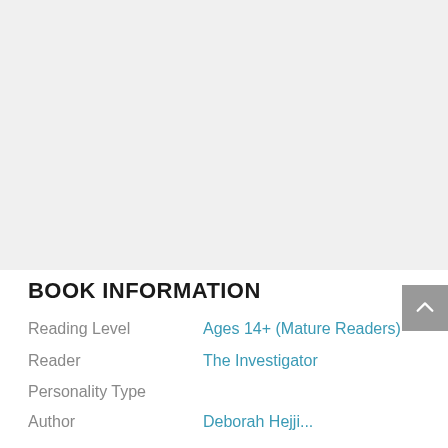[Figure (other): Light gray placeholder rectangle for book cover image]
BOOK INFORMATION
| Reading Level | Ages 14+ (Mature Readers) |
| Reader | The Investigator |
| Personality Type |  |
| Author | Deborah Hejji... |